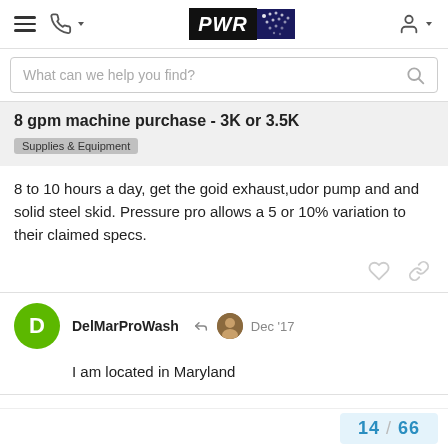PWR [logo with dots]
What can we help you find?
8 gpm machine purchase - 3K or 3.5K
Supplies & Equipment
8 to 10 hours a day, get the goid exhaust,udor pump and and solid steel skid. Pressure pro allows a 5 or 10% variation to their claimed specs.
DelMarProWash
Dec '17
I am located in Maryland
14 / 66